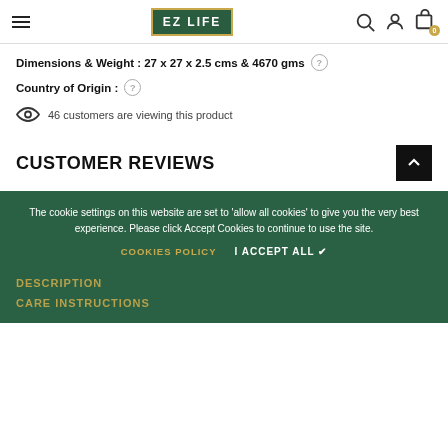EZ LIFE — navigation header with hamburger menu, logo, search, account, and cart icons
Dimensions & Weight : 27 x 27 x 2.5 cms & 4670 gms
Country of Origin :
46 customers are viewing this product
CUSTOMER REVIEWS
The cookie settings on this website are set to 'allow all cookies' to give you the very best experience. Please click Accept Cookies to continue to use the site.
COOKIES POLICY   I ACCEPT ALL ✔
DESCRIPTION
CARE INSTRUCTIONS